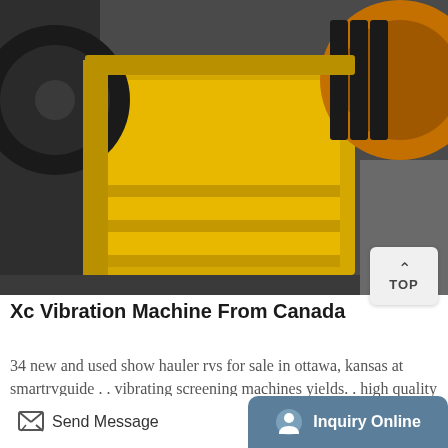[Figure (photo): Yellow industrial jaw crusher / vibration machine with large black pulley wheels, photographed outdoors.]
Xc Vibration Machine From Canada
34 new and used show hauler rvs for sale in ottawa, kansas at smartrvguide . . vibrating screening machines yields. . high quality river pebble horizontal vibrating screen from canada work efficiency. c's--garage a/c has the heat pump option electric bunks in the garage